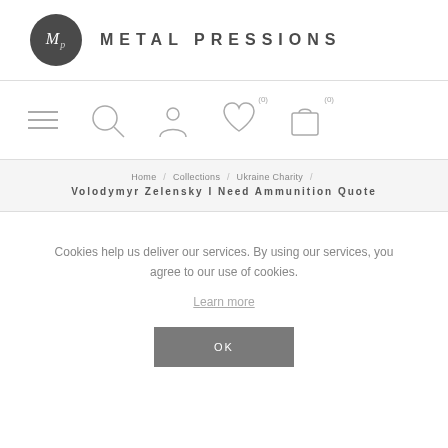[Figure (logo): Metal Pressions logo: dark grey circle with stylized 'Mp' in white italic, next to bold uppercase spaced text 'METAL PRESSIONS']
[Figure (infographic): Navigation icon row: hamburger menu, search/magnifier icon, profile/person icon, heart/wishlist icon with (0) count, shopping bag icon with (0) count]
Home / Collections / Ukraine Charity / Volodymyr Zelensky I Need Ammunition Quote
Cookies help us deliver our services. By using our services, you agree to our use of cookies.
Learn more
OK